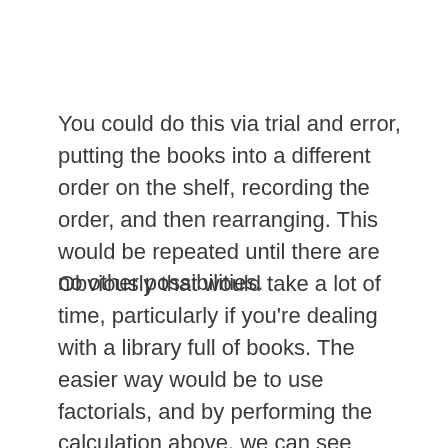You could do this via trial and error, putting the books into a different order on the shelf, recording the order, and then rearranging. This would be repeated until there are no other possibilities.
Obviously that would take a lot of time, particularly if you're dealing with a library full of books. The easier way would be to use factorials, and by performing the calculation above, we can see exactly how many different combinations that could be taken.